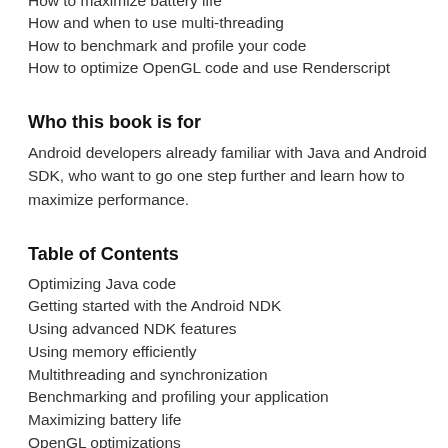How to maximize battery life
How and when to use multi-threading
How to benchmark and profile your code
How to optimize OpenGL code and use Renderscript
Who this book is for
Android developers already familiar with Java and Android SDK, who want to go one step further and learn how to maximize performance.
Table of Contents
Optimizing Java code
Getting started with the Android NDK
Using advanced NDK features
Using memory efficiently
Multithreading and synchronization
Benchmarking and profiling your application
Maximizing battery life
OpenGL optimizations